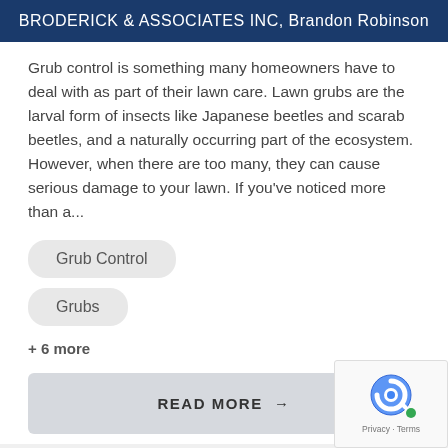BRODERICK & ASSOCIATES INC, Brandon Robinson
Grub control is something many homeowners have to deal with as part of their lawn care. Lawn grubs are the larval form of insects like Japanese beetles and scarab beetles, and a naturally occurring part of the ecosystem. However, when there are too many, they can cause serious damage to your lawn. If you've noticed more than a...
Grub Control
Grubs
+ 6 more
READ MORE →
[Figure (logo): reCAPTCHA logo with Privacy and Terms text]